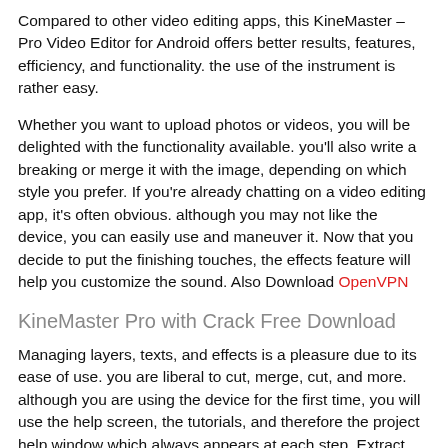Compared to other video editing apps, this KineMaster – Pro Video Editor for Android offers better results, features, efficiency, and functionality. the use of the instrument is rather easy.
Whether you want to upload photos or videos, you will be delighted with the functionality available. you'll also write a breaking or merge it with the image, depending on which style you prefer. If you're already chatting on a video editing app, it's often obvious. although you may not like the device, you can easily use and maneuver it. Now that you decide to put the finishing touches, the effects feature will help you customize the sound. Also Download OpenVPN
KineMaster Pro with Crack Free Download
Managing layers, texts, and effects is a pleasure due to its ease of use. you are liberal to cut, merge, cut, and more. although you are using the device for the first time, you will use the help screen, the tutorials, and therefore the project help window which always appears at each step. Extract and edit audio tracks separately from your video. Adjust the volume